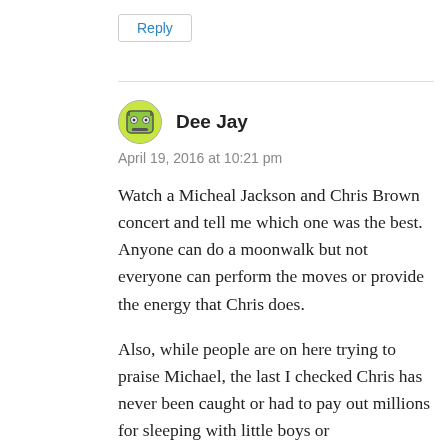Reply
Dee Jay
April 19, 2016 at 10:21 pm
Watch a Micheal Jackson and Chris Brown concert and tell me which one was the best. Anyone can do a moonwalk but not everyone can perform the moves or provide the energy that Chris does.
Also, while people are on here trying to praise Michael, the last I checked Chris has never been caught or had to pay out millions for sleeping with little boys or